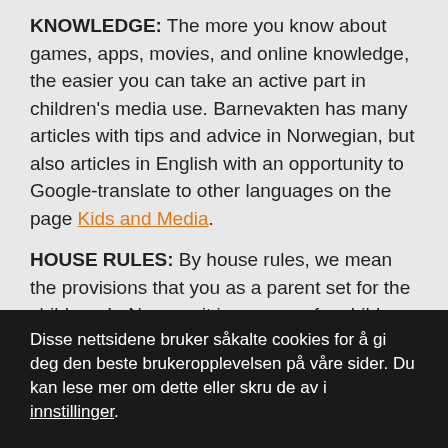KNOWLEDGE: The more you know about games, apps, movies, and online knowledge, the easier you can take an active part in children's media use. Barnevakten has many articles with tips and advice in Norwegian, but also articles in English with an opportunity to Google-translate to other languages on the page Kids and Media.
HOUSE RULES: By house rules, we mean the provisions that you as a parent set for the children. In Norway, it is common for children to have the opportunity to express their opinion on the rules before they are introduced. As children get older, their opinions become more and more
Disse nettsidene bruker såkalte cookies for å gi deg den beste brukeropplevelsen på våre sider. Du kan lese mer om dette eller skru de av i innstillinger.
Jeg forstår